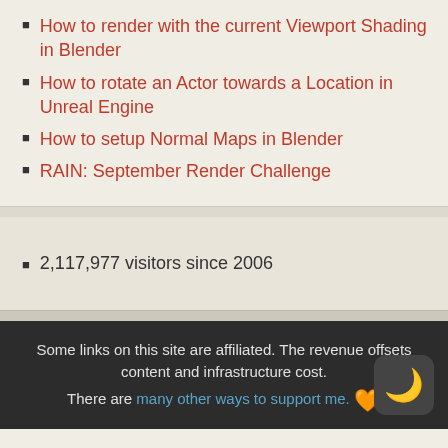How to render with the current Viewport Shading in Blender
How to rotate an Actor towards a Location in Unreal Engine
How to setup Normal Maps in Blender
RAIN: September Render Challenge
2,117,977 visitors since 2006
Some links on this site are affiliated. The revenue offsets content and infrastructure cost. There are many other ways to support me.